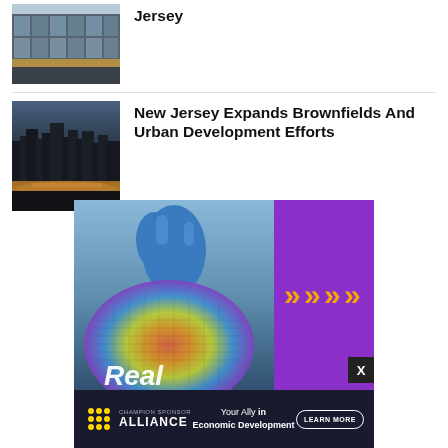[Figure (photo): Exterior of a modern building with glass facade]
New Jersey Expands Brownfields And Urban Development Efforts
[Figure (photo): Aerial view of a city at dusk/night with highway interchange and lights]
[Figure (photo): Advertisement banner showing semiconductor wafer held with blue gloves, purple background with gold chevron arrows, and 'Real' text]
[Figure (infographic): Alliance for Economic Development advertisement bar with logo, 'Your Ally in Economic Development' tagline and Learn More button]